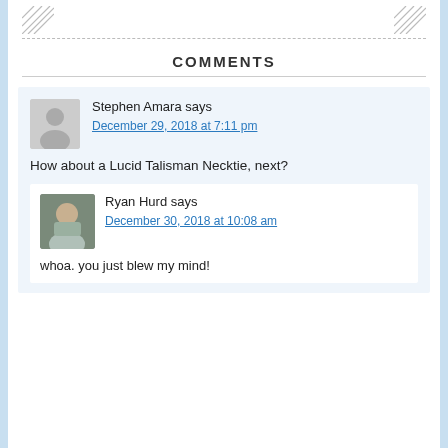COMMENTS
Stephen Amara says
December 29, 2018 at 7:11 pm
How about a Lucid Talisman Necktie, next?
Ryan Hurd says
December 30, 2018 at 10:08 am
whoa. you just blew my mind!